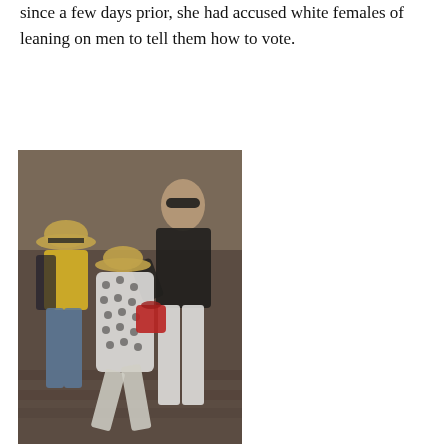since a few days prior, she had accused white females of leaning on men to tell them how to vote.
[Figure (photo): A blurry outdoor photograph showing three people on steps. On the left is a person wearing a straw hat and yellow top with dark pants. In the center is a person in a white polka-dot outfit with a red bag, appearing to be hunched or falling. On the right is a person wearing sunglasses and a black shirt with white pants, appearing to reach toward the center person.]